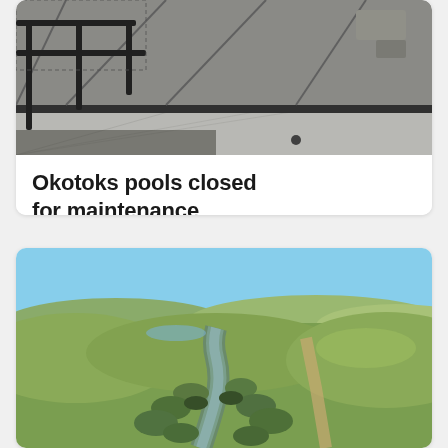[Figure (photo): Interior photo of an indoor swimming pool facility, showing pool deck, metal railings, and pool infrastructure viewed from above, black and white tones]
Okotoks pools closed for maintenance
[Figure (photo): Aerial/landscape photo of a winding creek or stream through green rolling hills and prairie grassland under a blue sky, daytime outdoor scene]